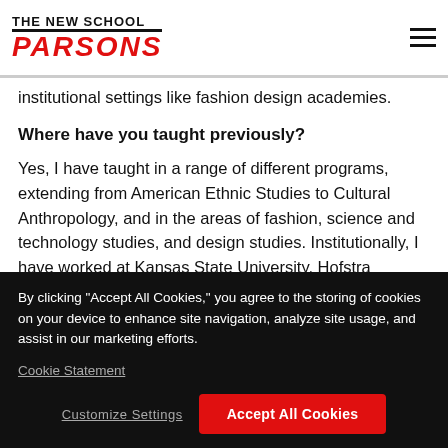THE NEW SCHOOL PARSONS
institutional settings like fashion design academies.
Where have you taught previously?
Yes, I have taught in a range of different programs, extending from American Ethnic Studies to Cultural Anthropology, and in the areas of fashion, science and technology studies, and design studies. Institutionally, I have worked at Kansas State University, Hofstra
By clicking “Accept All Cookies,” you agree to the storing of cookies on your device to enhance site navigation, analyze site usage, and assist in our marketing efforts.
Cookie Statement
Customize Settings
Accept All Cookies